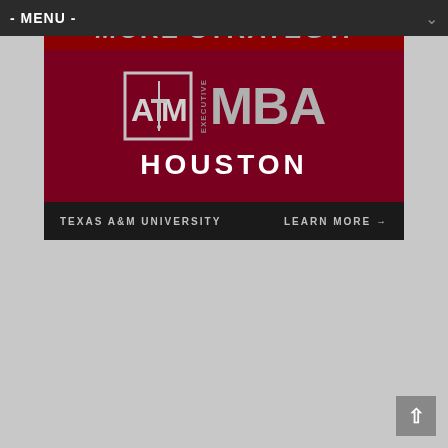- MENU -
[Figure (logo): Texas A&M University Executive MBA Houston advertisement banner. Shows the Texas A&M ATM logo, 'EXECUTIVE MBA' text, 'HOUSTON' text, 'TEXAS A&M UNIVERSITY' and 'LEARN MORE →' on a dark strip at the bottom. Partial text at top reads partial word suggesting 'More Strategy?' or similar.]